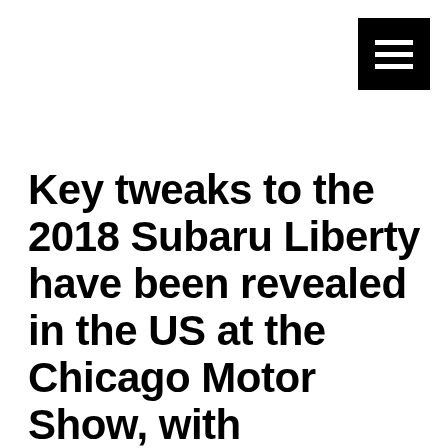[Figure (other): Hamburger menu icon — three horizontal white lines on a black square background, positioned in the top-right corner]
Key tweaks to the 2018 Subaru Liberty have been revealed in the US at the Chicago Motor Show, with